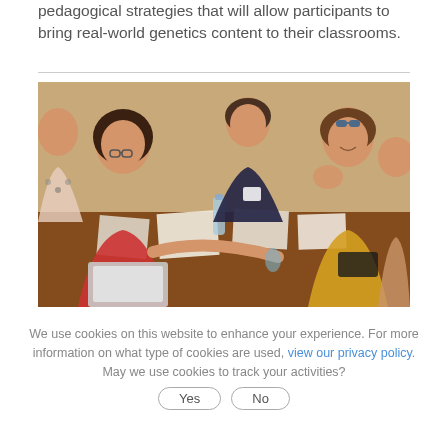pedagogical strategies that will allow participants to bring real-world genetics content to their classrooms.
[Figure (photo): Group of educators sitting around a table collaborating, passing materials to each other, smiling and engaged in a workshop activity.]
We use cookies on this website to enhance your experience. For more information on what type of cookies are used, view our privacy policy. May we use cookies to track your activities? Yes No